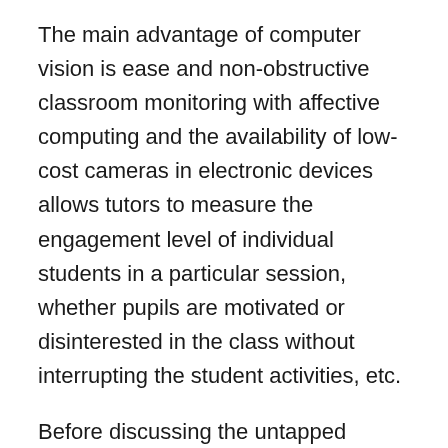The main advantage of computer vision is ease and non-obstructive classroom monitoring with affective computing and the availability of low-cost cameras in electronic devices allows tutors to measure the engagement level of individual students in a particular session, whether pupils are motivated or disinterested in the class without interrupting the student activities, etc.
Before discussing the untapped potential of computer vision, let's speak about how computer vision will help online tutors/ education creators in creating more engaging classroom practice based on the student's feedback about the particular class. With increasing internet usage, people can search for